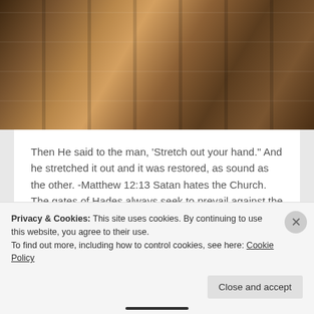[Figure (photo): Close-up photo of wooden church pews, showing the warm brown tones and grain of the wood]
Then He said to the man, 'Stretch out your hand.' And he stretched it out and it was restored, as sound as the other. -Matthew 12:13 Satan hates the Church. The gates of Hades always seek to prevail against the Church, for it lies deep in the heart of God as His primary vessel to...
Continue Reading →
Privacy & Cookies: This site uses cookies. By continuing to use this website, you agree to their use.
To find out more, including how to control cookies, see here: Cookie Policy
Close and accept